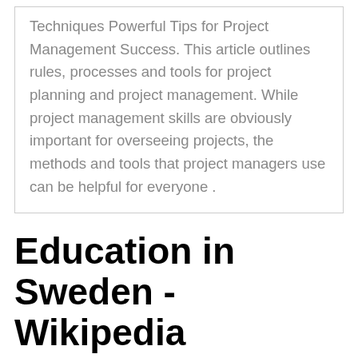Techniques Powerful Tips for Project Management Success. This article outlines rules, processes and tools for project planning and project management. While project management skills are obviously important for overseeing projects, the methods and tools that project managers use can be helpful for everyone .
Education in Sweden - Wikipedia
3 If you have the right skills, you will be primed to take advantage of outstanding opportunities for career growth. 2019-08-12 Project managers are